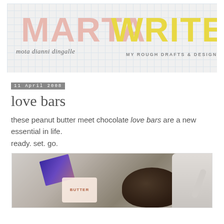[Figure (logo): Marta Writes blog header/logo with grid background. Large text: MARTA in pink/salmon, WRITES in yellow. Script text below and tagline: MY ROUGH DRAFTS & DESIGN PROCESS]
11 April 2008
love bars
these peanut butter meet chocolate love bars are a new essential in life.
ready. set. go.
[Figure (photo): Photo of ingredients and kitchen mixer/bowl for making love bars. Shows a box of peanut butter crackers, a bag of butter, and a stand mixer bowl with dark chocolate.]